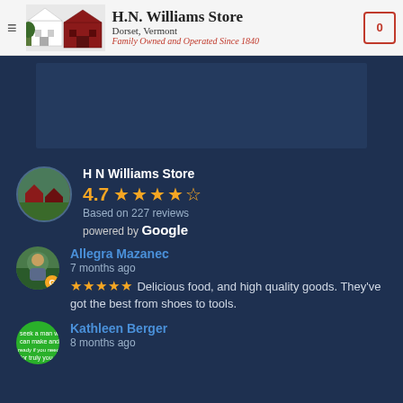H.N. Williams Store — Dorset, Vermont — Family Owned and Operated Since 1840
[Figure (screenshot): Dark blue advertisement placeholder area]
H N Williams Store
4.7 ★★★★½
Based on 227 reviews
powered by Google
Allegra Mazanec
7 months ago
★★★★★ Delicious food, and high quality goods. They've got the best from shoes to tools.
Kathleen Berger
8 months ago